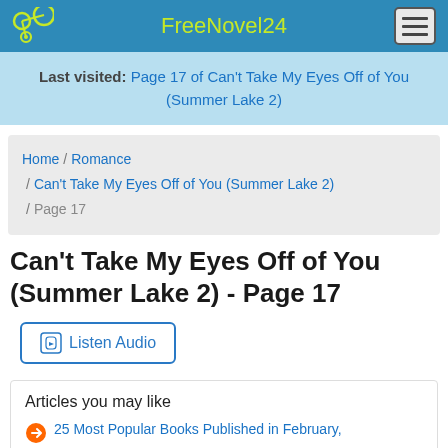FreeNovel24
Last visited: Page 17 of Can't Take My Eyes Off of You (Summer Lake 2)
Home / Romance / Can't Take My Eyes Off of You (Summer Lake 2) / Page 17
Can't Take My Eyes Off of You (Summer Lake 2) - Page 17
Listen Audio
Articles you may like
25 Most Popular Books Published in February,